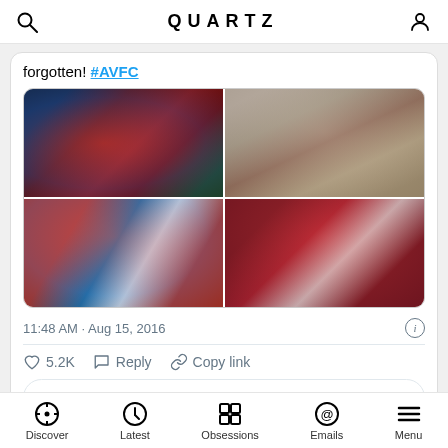QUARTZ
forgotten! #AVFC
[Figure (photo): 2x2 grid of four football photos featuring Aston Villa players celebrating]
11:48 AM · Aug 15, 2016
5.2K  Reply  Copy link
Read 87 replies
Discover  Latest  Obsessions  Emails  Menu